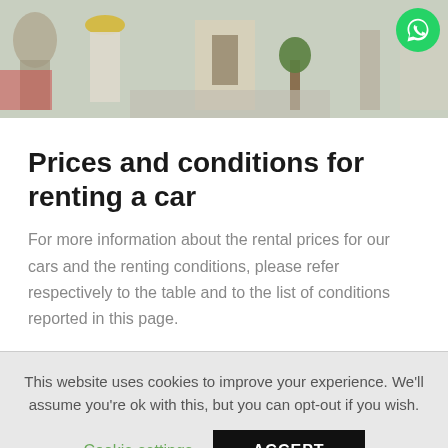[Figure (photo): Banner photo showing a Greek street scene with tourists, white buildings, and a WhatsApp contact icon in the top right corner.]
Prices and conditions for renting a car
For more information about the rental prices for our cars and the renting conditions, please refer respectively to the table and to the list of conditions reported in this page.
This website uses cookies to improve your experience. We'll assume you're ok with this, but you can opt-out if you wish.
Cookie settings  ACCEPT